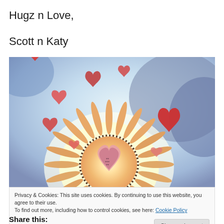Hugz n Love,
Scott n Katy
[Figure (illustration): Watercolor painting of a sun-like shape with radiating petals and a heart at the center, surrounded by floating red hearts on a blue-purple sky background]
Privacy & Cookies: This site uses cookies. By continuing to use this website, you agree to their use.
To find out more, including how to control cookies, see here: Cookie Policy
Share this: